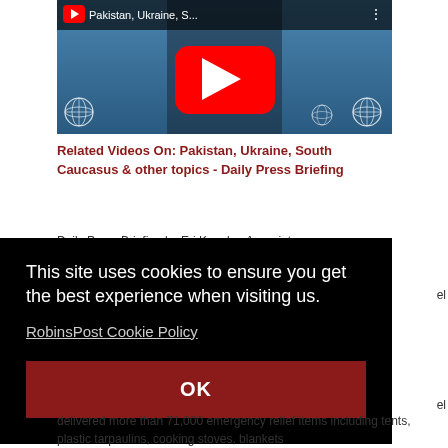[Figure (screenshot): YouTube video thumbnail showing a UN press briefing. Title bar reads 'Pakistan, Ukraine, S...' with three-dot menu. Red YouTube play button in center. Blue background with UN logos. Person visible in background.]
Related Videos On: Pakistan, Ukraine, South Caucasus & other topics - Daily Press Briefing
Daily Press Briefing by Eri Kaneko, Associate
This site uses cookies to ensure you get the best experience when visiting us.
RobinsPost Cookie Policy
OK
el
el
delivered more than 71,000 emergency relief items including tents, plastic tarpaulins, cooking stoves, blankets